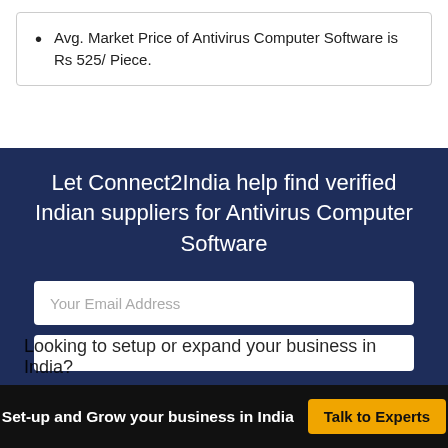Avg. Market Price of Antivirus Computer Software is Rs 525/ Piece.
Let Connect2India help find verified Indian suppliers for Antivirus Computer Software
Your Email Address
Looking to setup or expand your business in India?
Set-up and Grow your business in India
Talk to Experts